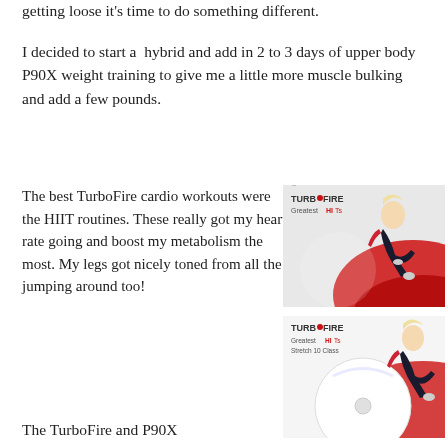getting loose it's time to do something different.
I decided to start a hybrid and add in 2 to 3 days of upper body P90X weight training to give me a little more muscle bulking and add a few pounds.
The best TurboFire cardio workouts were the HIIT routines. These really got my heart rate going and boost my metabolism the most. My legs got nicely toned from all the jumping around too!
[Figure (photo): TurboFire Greatest HITs DVD cover showing a woman doing a high knee jump]
[Figure (photo): TurboFire Greatest HITs Stretch 10 Class disc showing a woman doing a high knee jump]
The TurboFire and P90X